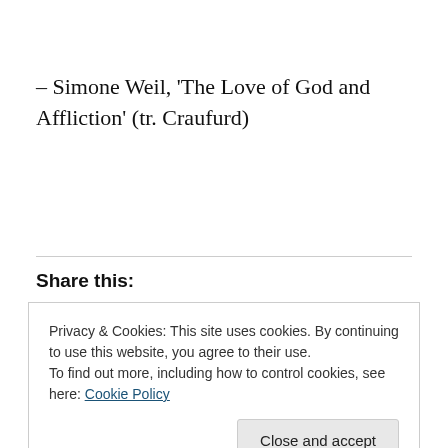– Simone Weil, 'The Love of God and Affliction' (tr. Craufurd)
Share this:
Privacy & Cookies: This site uses cookies. By continuing to use this website, you agree to their use.
To find out more, including how to control cookies, see here: Cookie Policy